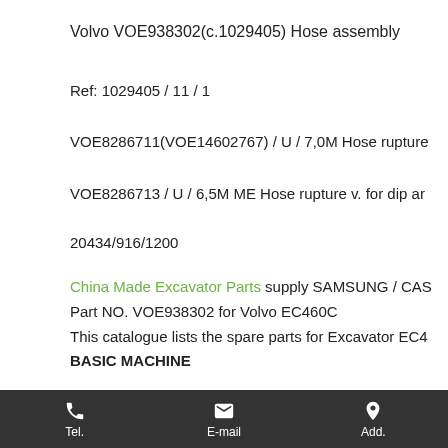Volvo VOE938302(c.1029405) Hose assembly
Ref: 1029405 / 11 / 1
VOE8286711(VOE14602767) / U / 7,0M Hose rupture
VOE8286713 / U / 6,5M ME Hose rupture v. for dip ar
20434/916/1200
China Made Excavator Parts supply SAMSUNG / CAS
Part NO. VOE938302 for Volvo EC460C
This catalogue lists the spare parts for Excavator EC4
BASIC MACHINE
Tel.   E-mail   Add.